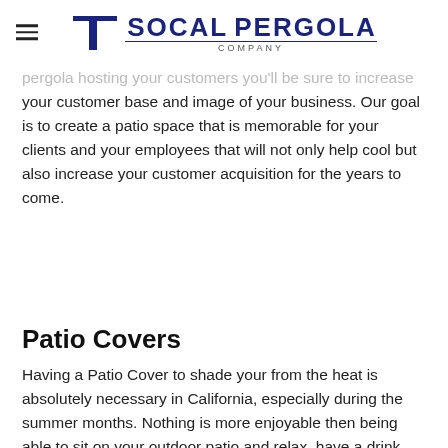SoCal Pergola Company
pergola hosting your customers you'll be sure to increase your customer base and image of your business. Our goal is to create a patio space that is memorable for your clients and your employees that will not only help cool but also increase your customer acquisition for the years to come.
Patio Covers
Having a Patio Cover to shade your from the heat is absolutely necessary in California, especially during the summer months. Nothing is more enjoyable then being able to sit on your outdoor patio and relax, have a drink and just enjoy the outdoors. More on patio covers is cut off.